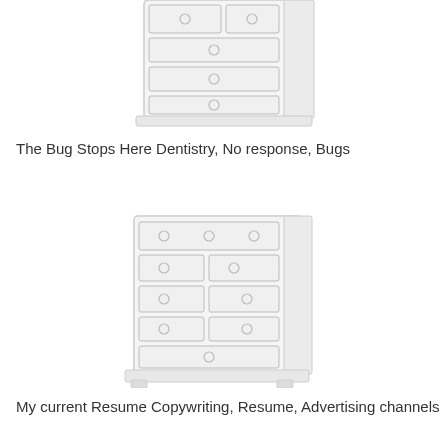[Figure (illustration): Line drawing of a white dresser/chest of drawers with multiple drawers and circular knobs, cropped at top]
The Bug Stops Here Dentistry, No response, Bugs
[Figure (illustration): Line drawing of a white dresser/chest of drawers with multiple rows of drawers and circular knobs]
My current Resume Copywriting, Resume, Advertising channels